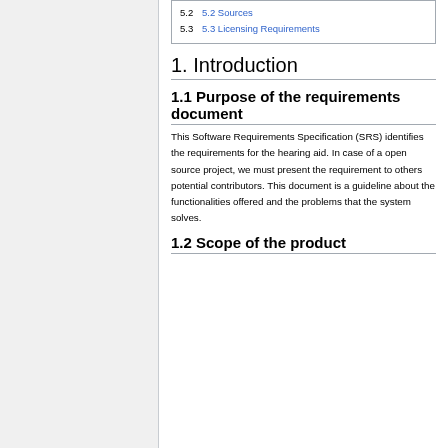5.2 5.2 Sources
5.3 5.3 Licensing Requirements
1. Introduction
1.1 Purpose of the requirements document
This Software Requirements Specification (SRS) identifies the requirements for the hearing aid. In case of a open source project, we must present the requirement to others potential contributors. This document is a guideline about the functionalities offered and the problems that the system solves.
1.2 Scope of the product